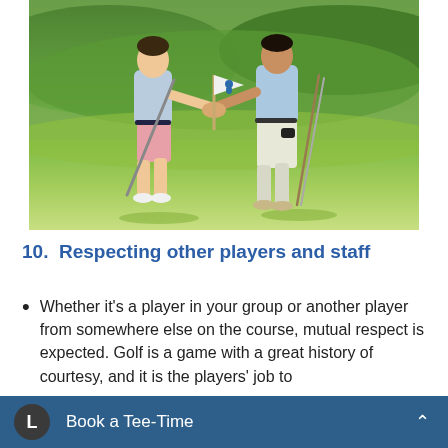[Figure (photo): Two young male golfers shaking hands on a golf course green. One wears a light blue shirt and pink shorts, the other wears a light blue shirt and white pants. One holds a golf flag with a golfer logo. Green fairway and trees in background.]
10.  Respecting other players and staff
Whether it's a player in your group or another player from somewhere else on the course, mutual respect is expected. Golf is a game with a great history of courtesy, and it is the players' job to
Book a Tee-Time